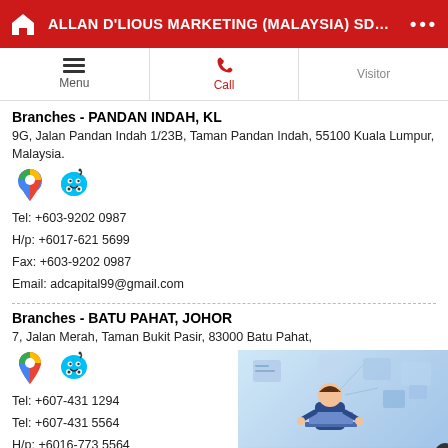ALLAN D'LIOUS MARKETING (MALAYSIA) SDN. BHD
Branches - PANDAN INDAH, KL
9G, Jalan Pandan Indah 1/23B, Taman Pandan Indah, 55100 Kuala Lumpur, Malaysia.
Tel: +603-9202 0987
H/p: +6017-621 5699
Fax: +603-9202 0987
Email: adcapital99@gmail.com
Branches - BATU PAHAT, JOHOR
7, Jalan Merah, Taman Bukit Pasir, 83000 Batu Pahat,
Tel: +607-431 1294
Tel: +607-431 5564
H/p: +6016-773 5564
Fax: +607-431 9122
Email: askme@graviteelab.com
[Figure (infographic): Popup showing a person working at a laptop with floating digital/tech icons, with text 'What are you looking for? Let us know what you need. Click here to get your free quote now!']
Branches - KEMAMAN, TERENGGANU